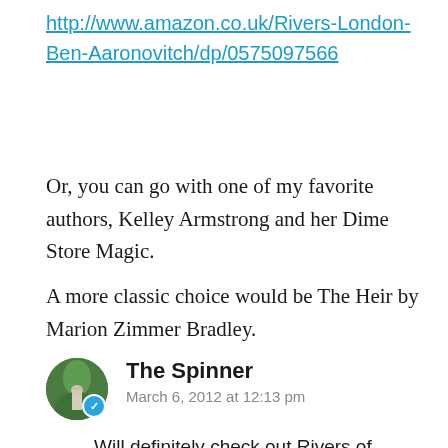http://www.amazon.co.uk/Rivers-London-Ben-Aaronovitch/dp/0575097566
Or, you can go with one of my favorite authors, Kelley Armstrong and her Dime Store Magic.
A more classic choice would be The Heir by Marion Zimmer Bradley.
The Spinner
March 6, 2012 at 12:13 pm
Will definitely check out Rivers of London! Thanks for the recommendation.